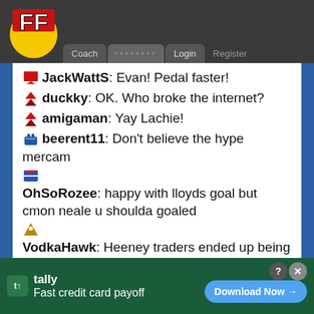FF Coach ........ Login Register
JackWattS: Evan! Pedal faster!
duckky: OK. Who broke the internet?
amigaman: Yay Lachie!
beerent11: Don't believe the hype mercam
OhSoRozee: happy with lloyds goal but cmon neale u shoulda goaled
VodkaHawk: Heeney traders ended up being the smart ones 🙂
Yelse: Ppl do you think heeney will be a top 6 fwd? If so why drop him
J_Herer: Lloyd, superstar from where he was
tally Fast credit card payoff Download Now →